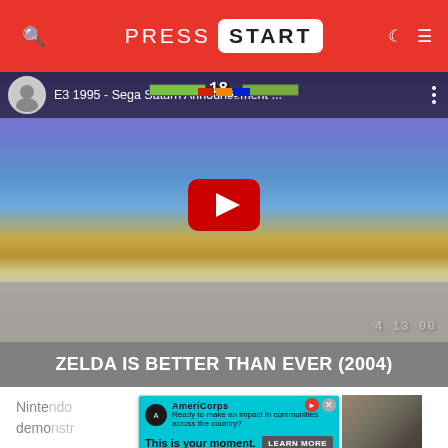PRESS START
[Figure (screenshot): YouTube video thumbnail for 'E3 1995 - Sega Saturn Announcement ...' showing a fighting game scene with a red play button overlay]
ZELDA IS BETTER THAN EVER (2004)
Nintendo ... Zelda demo ... the ...